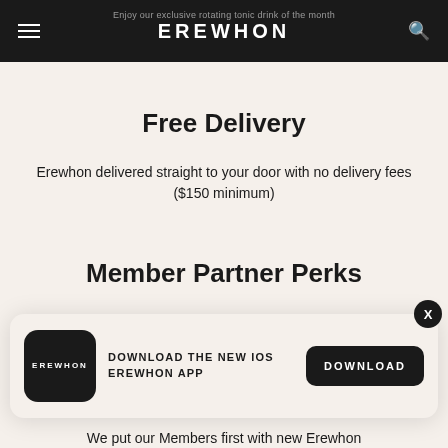EREWHON — Enjoy our exclusive rotating tonic drink of the month
Free Delivery
Erewhon delivered straight to your door with no delivery fees ($150 minimum)
Member Partner Perks
Erewhon Members-only access to lifestyle partner
[Figure (screenshot): App download banner with Erewhon logo, text 'DOWNLOAD THE NEW IOS EREWHON APP', and a DOWNLOAD button]
We put our Members first with new Erewhon